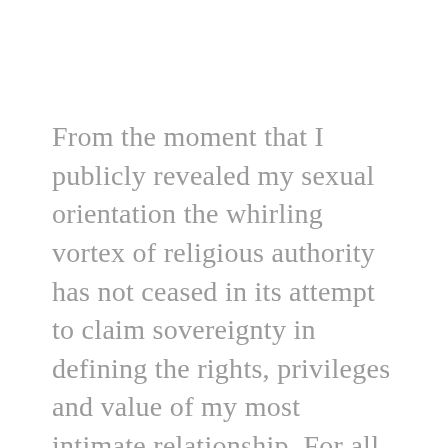From the moment that I publicly revealed my sexual orientation the whirling vortex of religious authority has not ceased in its attempt to claim sovereignty in defining the rights, privileges and value of my most intimate relationship. For all the ways that my faith has come to shape the integrity with which I hope to love and be loved, I, and others like me must contend with the irony that it is from those who teach love we are most often wounded. After two years of listening and comforting the countless heartbroken religiously induced